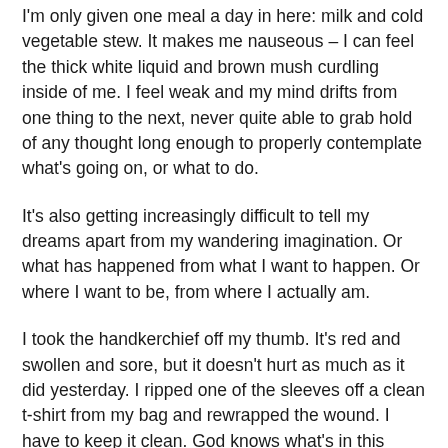I'm only given one meal a day in here: milk and cold vegetable stew. It makes me nauseous – I can feel the thick white liquid and brown mush curdling inside of me. I feel weak and my mind drifts from one thing to the next, never quite able to grab hold of any thought long enough to properly contemplate what's going on, or what to do.
It's also getting increasingly difficult to tell my dreams apart from my wandering imagination. Or what has happened from what I want to happen. Or where I want to be, from where I actually am.
I took the handkerchief off my thumb. It's red and swollen and sore, but it doesn't hurt as much as it did yesterday. I ripped one of the sleeves off a clean t-shirt from my bag and rewrapped the wound. I have to keep it clean. God knows what's in this shed. I wish they would give me water so I can wash it.
I want to share all the time. But I can't, I...